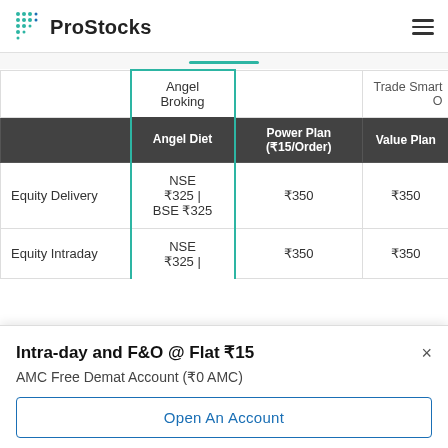ProStocks
|  | Angel Diet | Power Plan (₹15/Order) | Value Plan |
| --- | --- | --- | --- |
|  | Angel Broking |  | Trade Smart O |
| Equity Delivery | NSE ₹325 | BSE ₹325 | ₹350 | ₹350 |
| Equity Intraday | NSE ₹325 | | ₹350 | ₹350 |
Intra-day and F&O @ Flat ₹15
AMC Free Demat Account (₹0 AMC)
Open An Account